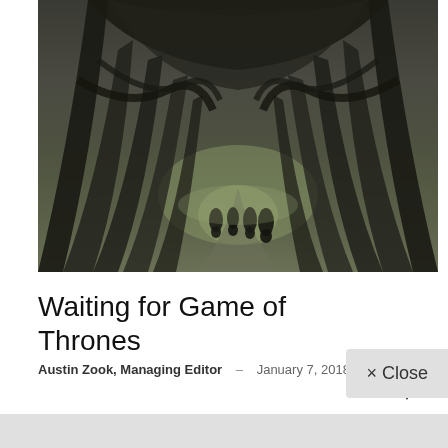[Figure (photo): Dark canopy of bare intertwined tree branches forming a tunnel arch over a road, with riders on horseback visible in the distance — a Game of Thrones filming location (The Dark Hedges, Northern Ireland). Black and white / desaturated photograph.]
Waiting for Game of Thrones
Austin Zook, Managing Editor – January 7, 2018
351
- Advertisement -
× Close